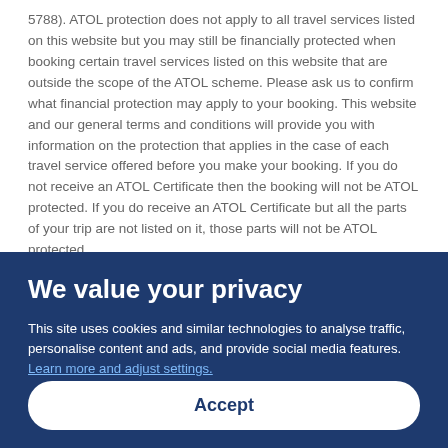5788). ATOL protection does not apply to all travel services listed on this website but you may still be financially protected when booking certain travel services listed on this website that are outside the scope of the ATOL scheme. Please ask us to confirm what financial protection may apply to your booking. This website and our general terms and conditions will provide you with information on the protection that applies in the case of each travel service offered before you make your booking. If you do not receive an ATOL Certificate then the booking will not be ATOL protected. If you do receive an ATOL Certificate but all the parts of your trip are not listed on it, those parts will not be ATOL protected.
For Packages that do not include a flight or Linked Travel Arrangements created on ebookers.com, all monies paid over in the case of non flight-inclusive Packages, or any monies paid directly to
We value your privacy
This site uses cookies and similar technologies to analyse traffic, personalise content and ads, and provide social media features. Learn more and adjust settings.
Accept